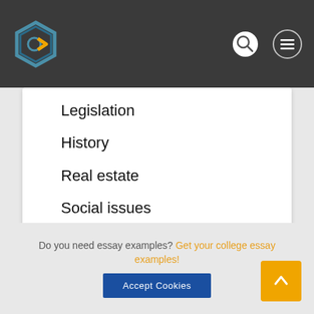Navigation bar with logo and search/menu icons
Legislation
History
Real estate
Social issues
Medicine
Information science
Do you need essay examples? Get your college essay examples!
Accept Cookies